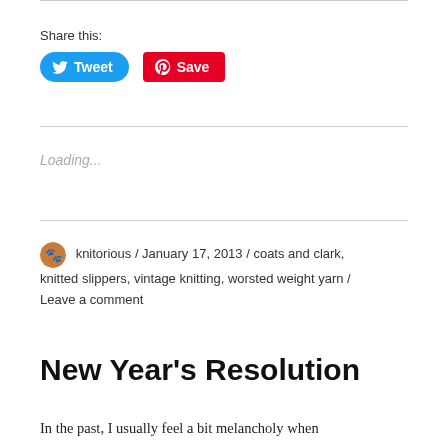Share this:
[Figure (other): Social sharing buttons: Tweet (Twitter) and Save (Pinterest)]
Loading...
knitorious / January 17, 2013 / coats and clark, knitted slippers, vintage knitting, worsted weight yarn / Leave a comment
New Year's Resolution
In the past, I usually feel a bit melancholy when